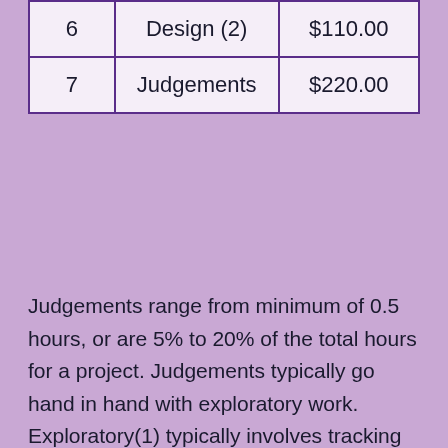| 6 | Design (2) | $110.00 |
| 7 | Judgements | $220.00 |
Judgements range from minimum of 0.5 hours, or are 5% to 20% of the total hours for a project. Judgements typically go hand in hand with exploratory work. Exploratory(1) typically involves tracking down information and reading. Exploratory(2) involves conceptual sketches and calculations and/or becoming familiar with information found during exploratory(1) activity. and reading documentation for a project. Drafting is production of formal technical drawings, but excludes design drafting. Design (1) is